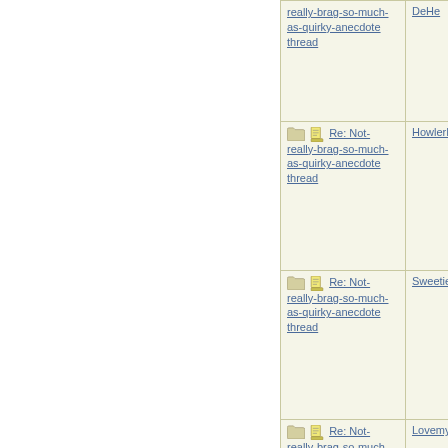| Topic | Author |
| --- | --- |
| really-brag-so-much-as-quirky-anecdote thread | DeHe |
| Re: Not-really-brag-so-much-as-quirky-anecdote thread | HowlerKa |
| Re: Not-really-brag-so-much-as-quirky-anecdote thread | Sweetie |
| Re: Not-really-brag-so-much-as-quirky-anecdote thread | Lovemyd |
| Re: Not-really-brag-so-much-as-quirky-anecdote thread | Saritz |
| Re: Not-really-brag-so-much-as-quirky-anecdote thread | aquinas |
| Re: Not-really-brag-so-much-as-quirky-anecdote thread | 22B |